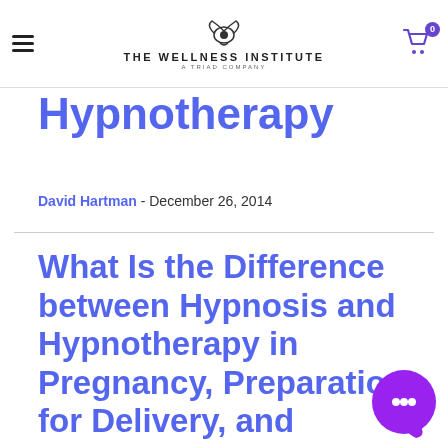The Wellness Institute - A Triad Company
Hypnotherapy
David Hartman - December 26, 2014
What Is the Difference between Hypnosis and Hypnotherapy in Pregnancy, Preparation for Delivery, and